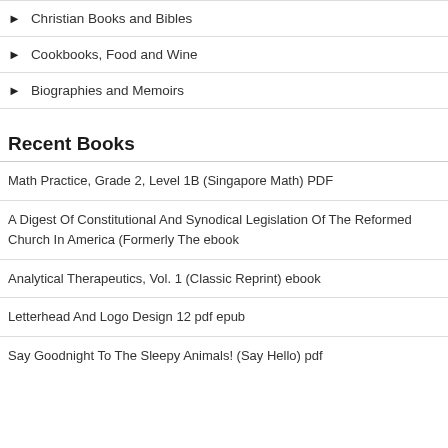Christian Books and Bibles
Cookbooks, Food and Wine
Biographies and Memoirs
Recent Books
Math Practice, Grade 2, Level 1B (Singapore Math) PDF
A Digest Of Constitutional And Synodical Legislation Of The Reformed Church In America (Formerly The ebook
Analytical Therapeutics, Vol. 1 (Classic Reprint) ebook
Letterhead And Logo Design 12 pdf epub
Say Goodnight To The Sleepy Animals! (Say Hello) pdf